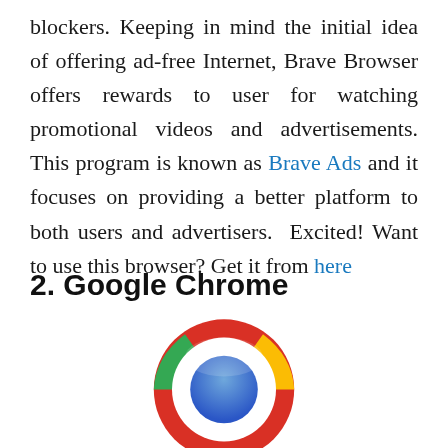blockers. Keeping in mind the initial idea of offering ad-free Internet, Brave Browser offers rewards to user for watching promotional videos and advertisements. This program is known as Brave Ads and it focuses on providing a better platform to both users and advertisers. Excited! Want to use this browser? Get it from here
2. Google Chrome
[Figure (logo): Google Chrome logo — a circular icon with a red top arc, green bottom-left arc, yellow bottom-right arc, a white ring, and a blue circle in the center, cropped at the bottom of the page.]